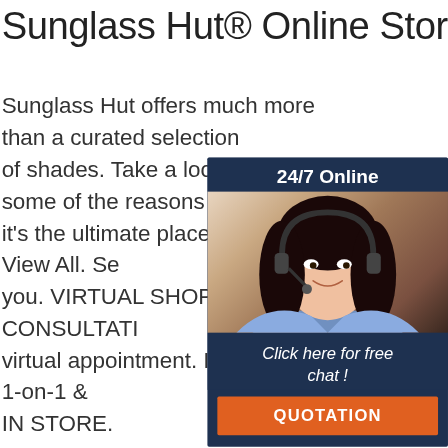Sunglass Hut® Online Store
Sunglass Hut offers much more than a curated selection of shades. Take a look at just some of the reasons why it's the ultimate place to shop. View All. Se[arch for] you. VIRTUAL SHOPPING CONSULTATI[ON] virtual appointment. It's 30-min, 1-on-1 & [FREE] IN STORE.
[Figure (photo): Customer service representative woman wearing headset, smiling, with '24/7 Online' header and 'Click here for free chat! QUOTATION' button overlay widget]
Get Price
[Figure (infographic): Orange dotted triangle 'TOP' icon with orange dots forming an upward triangle shape above the text TOP in orange]
CONFORM TO A VARIETY OF FACE SHAPES